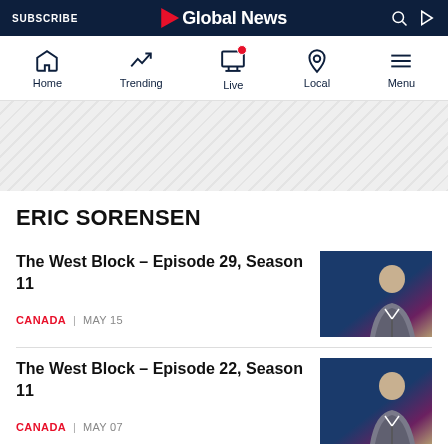SUBSCRIBE | Global News
[Figure (screenshot): Global News mobile app navigation bar with Home, Trending, Live, Local, Menu icons]
[Figure (other): Diagonal striped advertisement banner area]
ERIC SORENSEN
The West Block – Episode 29, Season 11
CANADA | MAY 15
[Figure (photo): Photo of Eric Sorensen in a grey suit against a blue background]
The West Block – Episode 22, Season 11
CANADA | MAY 07
[Figure (photo): Photo of Eric Sorensen in a grey suit against a blue background]